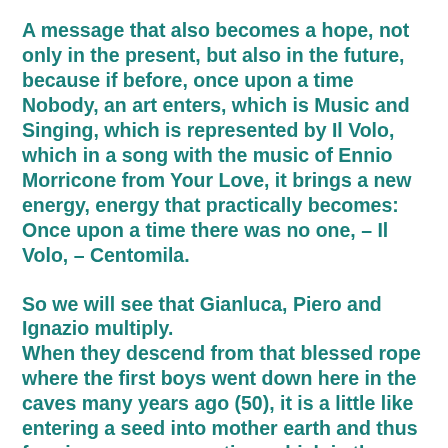A message that also becomes a hope, not only in the present, but also in the future, because if before, once upon a time Nobody, an art enters, which is Music and Singing, which is represented by Il Volo, which in a song with the music of Ennio Morricone from Your Love, it brings a new energy, energy that practically becomes: Once upon a time there was no one, – Il Volo, – Centomila.
So we will see that Gianluca, Piero and Ignazio multiply.
When they descend from that blessed rope where the first boys went down here in the caves many years ago (50), it is a little like entering a seed into mother earth and thus forming a new generation, which is the generation of the future.
Il Volo, in this case, becomes a symbol, as, not only